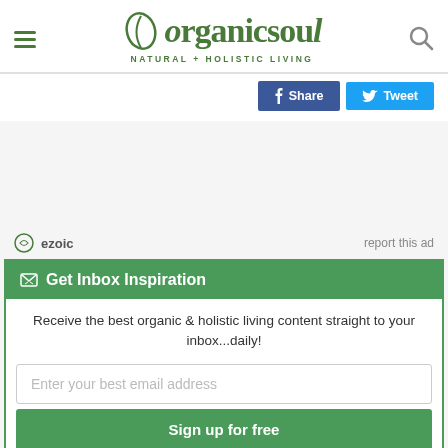[Figure (logo): Organic Soul logo with leaf icon and tagline NATURAL + HOLISTIC LIVING]
[Figure (infographic): Facebook Share and Twitter Tweet social sharing buttons]
ezoic   report this ad
Get Inbox Inspiration
Receive the best organic & holistic living content straight to your inbox...daily!
Enter your best email address
Sign up for free